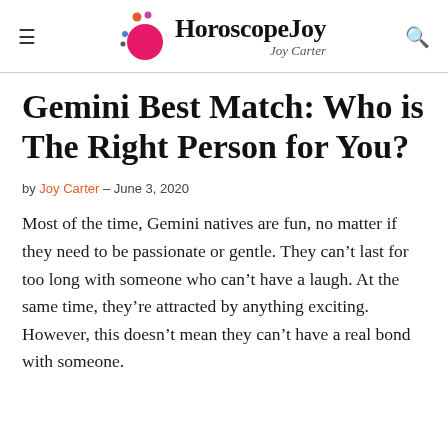HoroscopeJoy — Joy Carter
Gemini Best Match: Who is The Right Person for You?
by Joy Carter – June 3, 2020
Most of the time, Gemini natives are fun, no matter if they need to be passionate or gentle. They can't last for too long with someone who can't have a laugh. At the same time, they're attracted by anything exciting. However, this doesn't mean they can't have a real bond with someone.